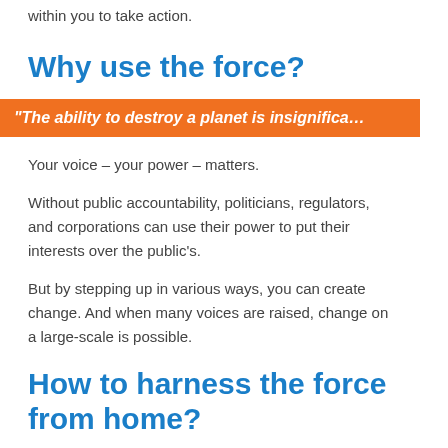If you are reading this, you already have the power within you to take action.
Why use the force?
“The ability to destroy a planet is insignifica…
Your voice – your power – matters.
Without public accountability, politicians, regulators, and corporations can use their power to put their interests over the public’s.
But by stepping up in various ways, you can create change. And when many voices are raised, change on a large-scale is possible.
How to harness the force from home?